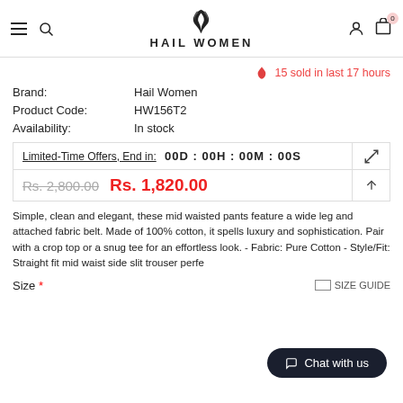HAIL WOMEN
15 sold in last 17 hours
Brand: Hail Women
Product Code: HW156T2
Availability: In stock
Limited-Time Offers, End in: 00D : 00H : 00M : 00S
Rs. 2,800.00  Rs. 1,820.00
Simple, clean and elegant, these mid waisted pants feature a wide leg and attached fabric belt. Made of 100% cotton, it spells luxury and sophistication. Pair with a crop top or a snug tee for an effortless look. - Fabric: Pure Cotton - Style/Fit: Straight fit mid waist side slit trouser perfe
Size *  SIZE GUIDE
Chat with us